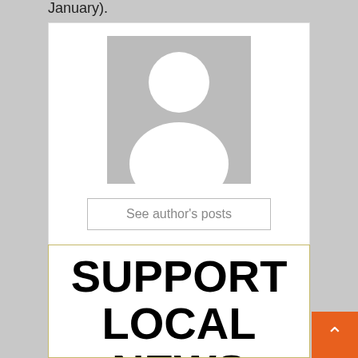January).
[Figure (illustration): Generic author avatar placeholder: gray square background with a white silhouette of a person (head and shoulders). Below is a button labeled 'See author's posts'.]
See author's posts
SUPPORT LOCAL NEWS